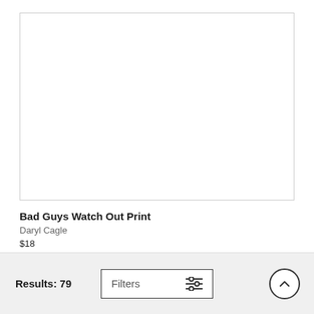[Figure (photo): Empty white product image placeholder with light grey border]
Bad Guys Watch Out Print
Daryl Cagle
$18
Results: 79  Filters  [up arrow]